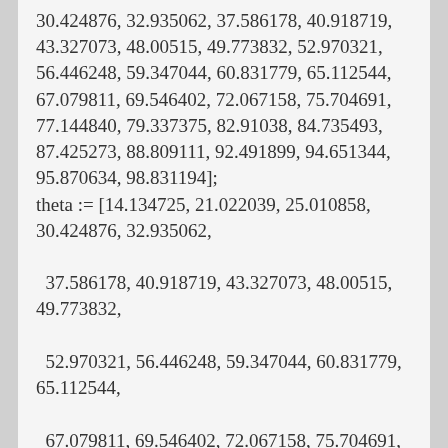30.424876, 32.935062, 37.586178, 40.918719, 43.327073, 48.00515, 49.773832, 52.970321, 56.446248, 59.347044, 60.831779, 65.112544, 67.079811, 69.546402, 72.067158, 75.704691, 77.144840, 79.337375, 82.91038, 84.735493, 87.425273, 88.809111, 92.491899, 94.651344, 95.870634, 98.831194]; theta := [14.134725, 21.022039, 25.010858, 30.424876, 32.935062,

  37.586178, 40.918719, 43.327073, 48.00515, 49.773832,

  52.970321, 56.446248, 59.347044, 60.831779, 65.112544,

  67.079811, 69.546402, 72.067158, 75.704691, 77.144840,

  79.337375, 82.91038, 84.735493, 87.425273, 88.809111,

  92.491899, 94.651344, 95.870634, 98.831194]